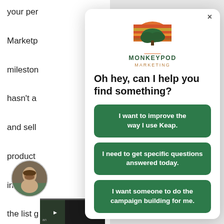your per
Marketp
mileston
hasn't a
and sell
product
in-strea
the list g
being in
research
[Figure (screenshot): A modal dialog popup from Monkeypod Marketing with a logo (tree and sunset graphic), heading 'Oh hey, can I help you find something?', and three green buttons: 'I want to improve the way I use Keap.', 'I need to get specific questions answered today.', 'I want someone to do the campaign building for me.']
[Figure (photo): Circular avatar photo of a bearded man outdoors in bottom-left of page]
[Figure (screenshot): Video thumbnail at bottom of page]